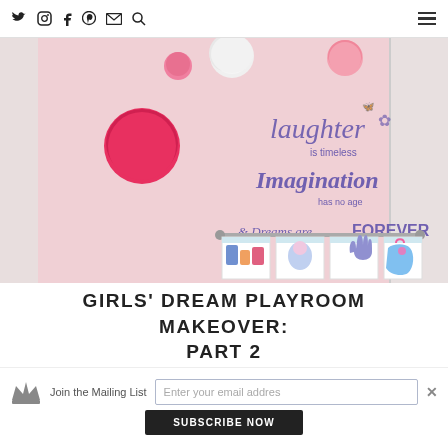Twitter Instagram Facebook Pinterest Email Search | Menu
[Figure (photo): Girl's playroom with pink wall, tissue paper pom-poms in white, pink and hot pink, purple vinyl wall decal reading 'Laughter is timeless, Imagination has no age & Dreams are FOREVER', and children's artwork hung on a display bar below]
GIRLS' DREAM PLAYROOM MAKEOVER: PART 2
Join the Mailing List  Enter your email address  SUBSCRIBE NOW